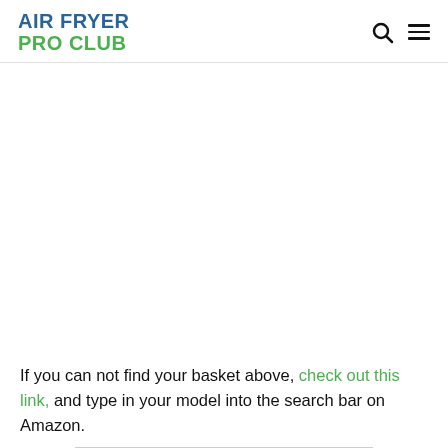AIR FRYER PRO CLUB
If you can not find your basket above, check out this link, and type in your model into the search bar on Amazon.
[Figure (other): Advertisement banner for CarMax: 'We're Open and Here to Help CarMax']